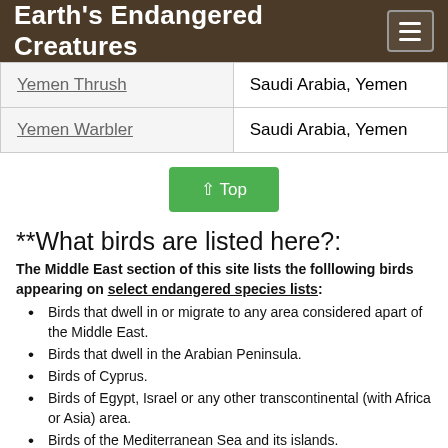Earth's Endangered Creatures
| Species | Location |
| --- | --- |
| Yemen Thrush | Saudi Arabia, Yemen |
| Yemen Warbler | Saudi Arabia, Yemen |
⇧ Top
**What birds are listed here?:
The Middle East section of this site lists the folllowing birds appearing on select endangered species lists:
Birds that dwell in or migrate to any area considered apart of the Middle East.
Birds that dwell in the Arabian Peninsula.
Birds of Cyprus.
Birds of Egypt, Israel or any other transcontinental (with Africa or Asia) area.
Birds of the Mediterranean Sea and its islands.
Birds of the Palearctic.